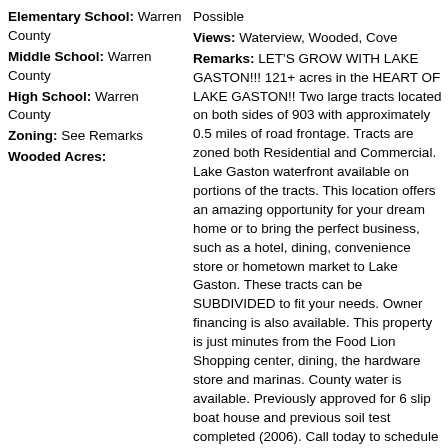Elementary School: Warren County
Middle School: Warren County
High School: Warren County
Zoning: See Remarks
Wooded Acres:
Possible
Views: Waterview, Wooded, Cove
Remarks: LET'S GROW WITH LAKE GASTON!!! 121+ acres in the HEART OF LAKE GASTON!! Two large tracts located on both sides of 903 with approximately 0.5 miles of road frontage. Tracts are zoned both Residential and Commercial. Lake Gaston waterfront available on portions of the tracts. This location offers an amazing opportunity for your dream home or to bring the perfect business, such as a hotel, dining, convenience store or hometown market to Lake Gaston. These tracts can be SUBDIVIDED to fit your needs. Owner financing is also available. This property is just minutes from the Food Lion Shopping center, dining, the hardware store and marinas. County water is available. Previously approved for 6 slip boat house and previous soil test completed (2006). Call today to schedule your showing!
Property Type: Land/Lots